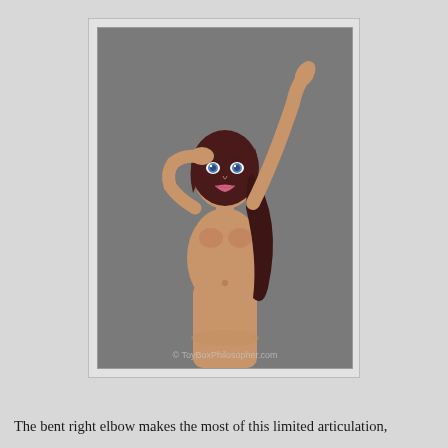[Figure (photo): A Barbie-style fashion doll with dark reddish-brown hair in a ponytail, blue eyes, and natural skin tone. The doll is posed with one arm raised straight up and the other hand touching her head, shown from the waist up against a gray background. A watermark reads '© ToyBoxPhilosopher.com'.]
The bent right elbow makes the most of this limited articulation,